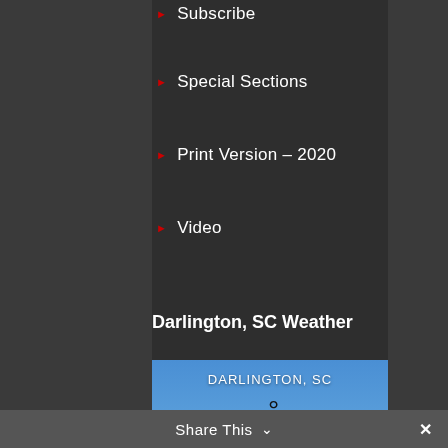Subscribe
Special Sections
Print Version – 2020
Video
Darlington, SC Weather
[Figure (infographic): Weather widget showing Darlington, SC: 63 degrees, overcast clouds, 82% humidity, wind 5m/s SSW, H 64 L 60, with a blue sky and clouds background image]
Share This ∨ ✕